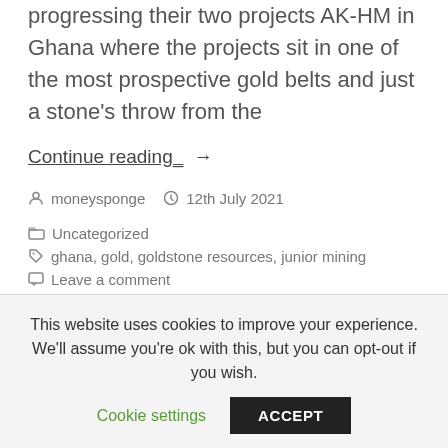progressing their two projects AK-HM in Ghana where the projects sit in one of the most prospective gold belts and just a stone's throw from the
Continue reading_ →
moneysponge  12th July 2021  Uncategorized
ghana, gold, goldstone resources, junior mining
Leave a comment
This website uses cookies to improve your experience. We'll assume you're ok with this, but you can opt-out if you wish.
Cookie settings  ACCEPT